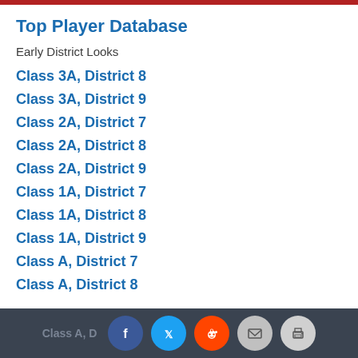Top Player Database
Early District Looks
Class 3A, District 8
Class 3A, District 9
Class 2A, District 7
Class 2A, District 8
Class 2A, District 9
Class 1A, District 7
Class 1A, District 8
Class 1A, District 9
Class A, District 7
Class A, District 8
Class A, District [9] — social share bar